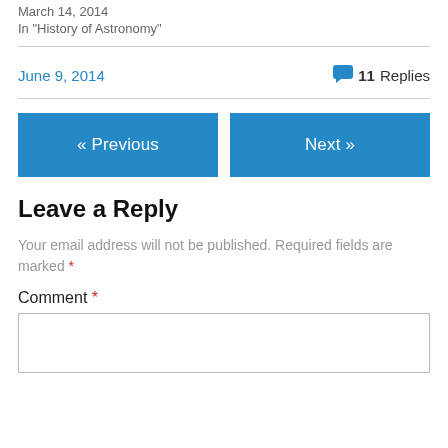March 14, 2014
In "History of Astronomy"
June 9, 2014
11 Replies
« Previous
Next »
Leave a Reply
Your email address will not be published. Required fields are marked *
Comment *